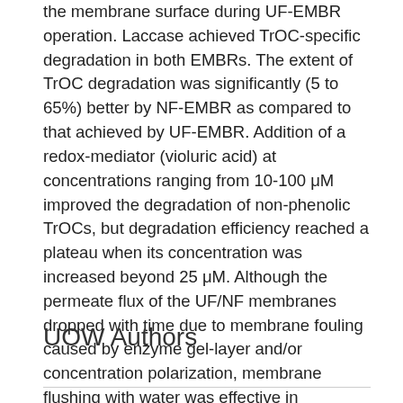the membrane surface during UF-EMBR operation. Laccase achieved TrOC-specific degradation in both EMBRs. The extent of TrOC degradation was significantly (5 to 65%) better by NF-EMBR as compared to that achieved by UF-EMBR. Addition of a redox-mediator (violuric acid) at concentrations ranging from 10-100 μM improved the degradation of non-phenolic TrOCs, but degradation efficiency reached a plateau when its concentration was increased beyond 25 μM. Although the permeate flux of the UF/NF membranes dropped with time due to membrane fouling caused by enzyme gel-layer and/or concentration polarization, membrane flushing with water was effective in recovering the flux by up to 95%.
UOW Authors